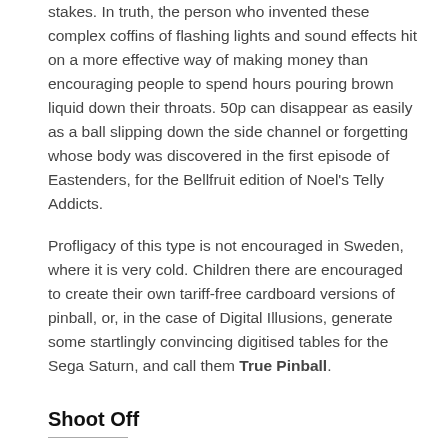stakes. In truth, the person who invented these complex coffins of flashing lights and sound effects hit on a more effective way of making money than encouraging people to spend hours pouring brown liquid down their throats. 50p can disappear as easily as a ball slipping down the side channel or forgetting whose body was discovered in the first episode of Eastenders, for the Bellfruit edition of Noel's Telly Addicts.
Profligacy of this type is not encouraged in Sweden, where it is very cold. Children there are encouraged to create their own tariff-free cardboard versions of pinball, or, in the case of Digital Illusions, generate some startlingly convincing digitised tables for the Sega Saturn, and call them True Pinball.
Shoot Off